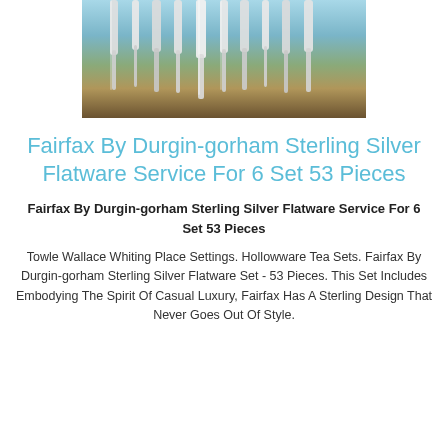[Figure (photo): Photo of multiple silver flatware pieces (spoons, forks, knives) laid out with handles pointing downward against a blue-gray background]
Fairfax By Durgin-gorham Sterling Silver Flatware Service For 6 Set 53 Pieces
Fairfax By Durgin-gorham Sterling Silver Flatware Service For 6 Set 53 Pieces
Towle Wallace Whiting Place Settings. Hollowware Tea Sets. Fairfax By Durgin-gorham Sterling Silver Flatware Set - 53 Pieces. This Set Includes Embodying The Spirit Of Casual Luxury, Fairfax Has A Sterling Design That Never Goes Out Of Style.